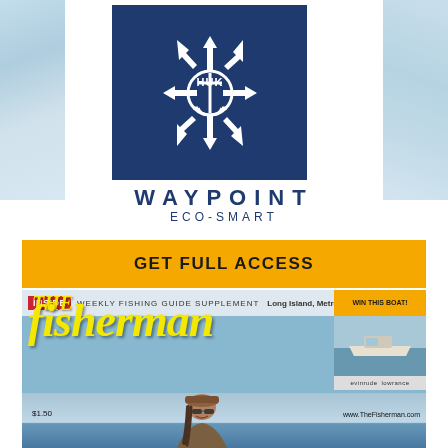[Figure (logo): HUK brand logo — white anchor/arrow icon on dark navy blue square background]
WAYPOINT
ECO-SMART
GET FULL ACCESS
[Figure (photo): Cover of The Fisherman magazine — Long Island, Metro NY edition. Shows 'INSIDE WEEKLY FISHING GUIDE SUPPLEMENT', 'Win This Boat' promo box, large yellow 'The Fisherman' masthead text, and a woman wearing sunglasses and a cap smiling on the water with a boat in background. Price $1.50, website www.TheFisherman.com]